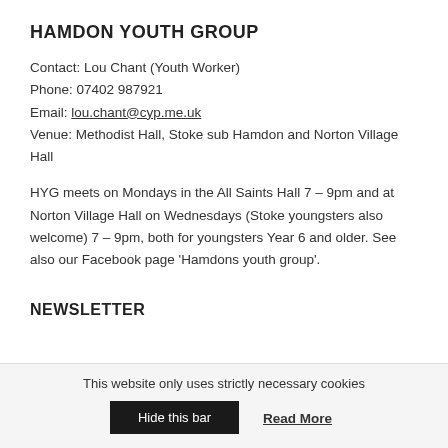HAMDON YOUTH GROUP
Contact: Lou Chant (Youth Worker)
Phone: 07402 987921
Email: lou.chant@cyp.me.uk
Venue: Methodist Hall, Stoke sub Hamdon and Norton Village Hall
HYG meets on Mondays in the All Saints Hall 7 – 9pm and at Norton Village Hall on Wednesdays (Stoke youngsters also welcome) 7 – 9pm, both for youngsters Year 6 and older. See also our Facebook page 'Hamdons youth group'.
NEWSLETTER
This website only uses strictly necessary cookies
Hide this bar
Read More